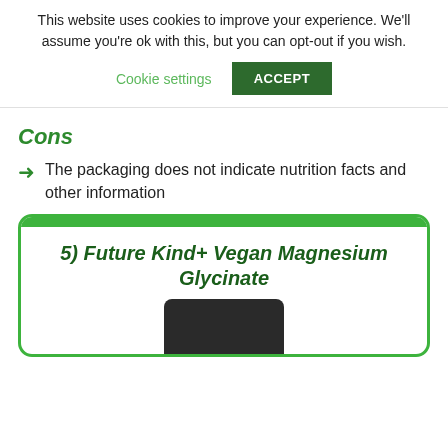This website uses cookies to improve your experience. We'll assume you're ok with this, but you can opt-out if you wish.
Cookie settings  ACCEPT
Cons
The packaging does not indicate nutrition facts and other information
5) Future Kind+ Vegan Magnesium Glycinate